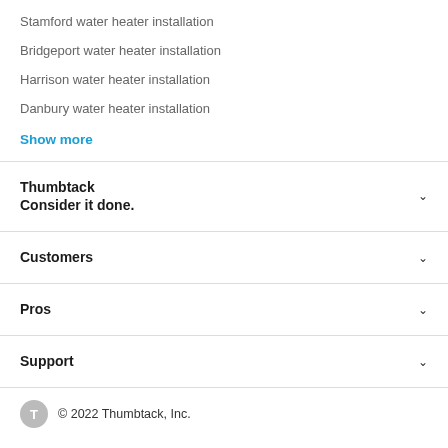Stamford water heater installation
Bridgeport water heater installation
Harrison water heater installation
Danbury water heater installation
Show more
Thumbtack
Consider it done.
Customers
Pros
Support
© 2022 Thumbtack, Inc.